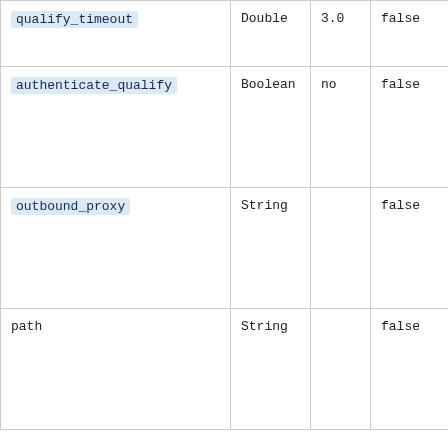| qualify_timeout | Double | 3.0 | false |
| authenticate_qualify | Boolean | no | false |
| outbound_proxy | String |  | false |
| path | String |  | false |